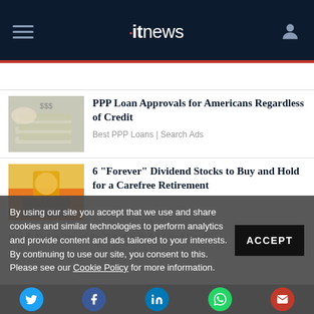itnews
[Figure (photo): Stack of US dollar bills with a hand]
PPP Loan Approvals for Americans Regardless of Credit
Best PPP Loans | Search Ads
[Figure (photo): Construction worker in orange safety vest and hard hat]
6 "Forever" Dividend Stocks to Buy and Hold for a Carefree Retirement
Hands Down One of the Best Cards for Good Credit
By using our site you accept that we use and share cookies and similar technologies to perform analytics and provide content and ads tailored to your interests. By continuing to use our site, you consent to this. Please see our Cookie Policy for more information.